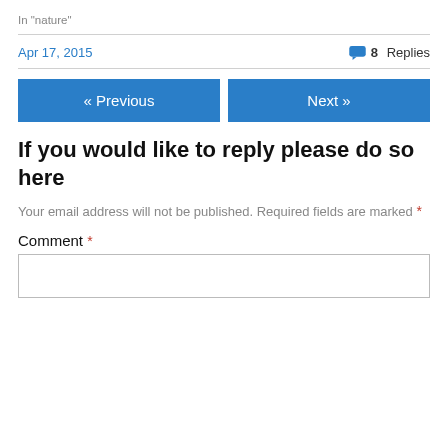In "nature"
Apr 17, 2015
8 Replies
« Previous
Next »
If you would like to reply please do so here
Your email address will not be published. Required fields are marked *
Comment *